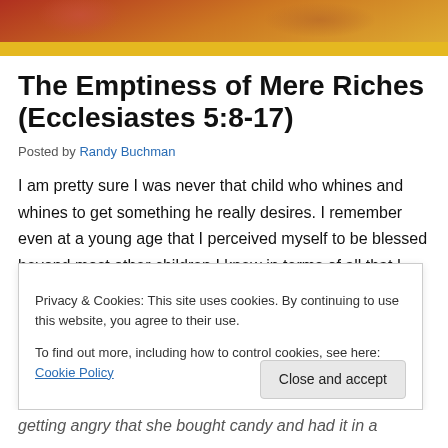[Figure (photo): Partial banner/header image showing people at what appears to be a party or celebration, with warm orange and red tones.]
The Emptiness of Mere Riches (Ecclesiastes 5:8-17)
Posted by Randy Buchman
I am pretty sure I was never that child who whines and whines to get something he really desires. I remember even at a young age that I perceived myself to be blessed beyond most other children I knew in terms of all that I
Privacy & Cookies: This site uses cookies. By continuing to use this website, you agree to their use. To find out more, including how to control cookies, see here: Cookie Policy
getting angry that she bought candy and had it in a